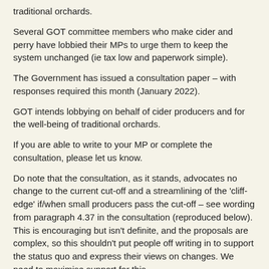traditional orchards.
Several GOT committee members who make cider and perry have lobbied their MPs to urge them to keep the system unchanged (ie tax low and paperwork simple).
The Government has issued a consultation paper – with responses required this month (January 2022).
GOT intends lobbying on behalf of cider producers and for the well-being of traditional orchards.
If you are able to write to your MP or complete the consultation, please let us know.
Do note that the consultation, as it stands, advocates no change to the current cut-off and a streamlining of the 'cliff-edge' if/when small producers pass the cut-off – see wording from paragraph 4.37 in the consultation (reproduced below).  This is encouraging but isn't definite, and the proposals are complex, so this shouldn't put people off writing in to support the status quo and express their views on changes. We need to maximise support for this.
4.37 The Government intends this to build on